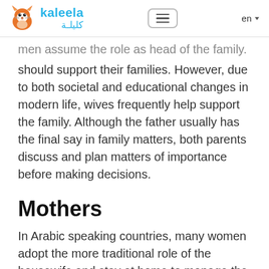kaleela / كليلة — en
men assume the role as head of the family. Fathers should support their families. However, due to both societal and educational changes in modern life, wives frequently help support the family. Although the father usually has the final say in family matters, both parents discuss and plan matters of importance before making decisions.
Mothers
In Arabic speaking countries, many women adopt the more traditional role of the housewife and stay at home to manage the household and help raise and educate their children. However, Westerners often have misconceptions about this idea, and